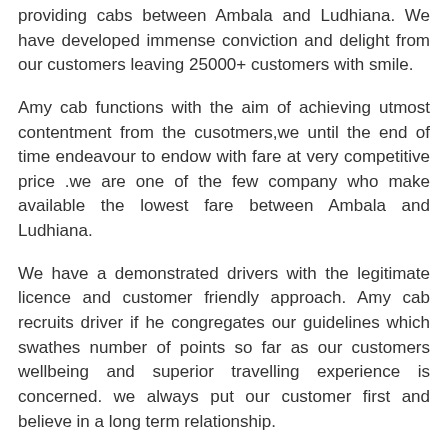providing cabs between Ambala and Ludhiana. We have developed immense conviction and delight from our customers leaving 25000+ customers with smile.
Amy cab functions with the aim of achieving utmost contentment from the cusotmers,we until the end of time endeavour to endow with fare at very competitive price .we are one of the few company who make available the lowest fare between Ambala and Ludhiana.
We have a demonstrated drivers with the legitimate licence and customer friendly approach. Amy cab recruits driver if he congregates our guidelines which swathes number of points so far as our customers wellbeing and superior travelling experience is concerned. we always put our customer first and believe in a long term relationship.